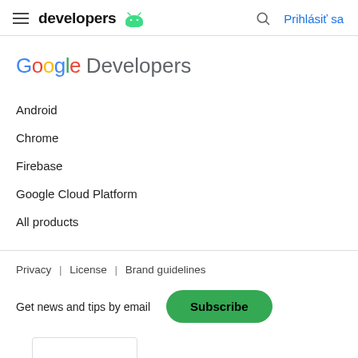developers  Prihlásiť sa
[Figure (logo): Google Developers logo with colorful Google text and gray Developers text]
Android
Chrome
Firebase
Google Cloud Platform
All products
Privacy  |  License  |  Brand guidelines
Get news and tips by email  Subscribe